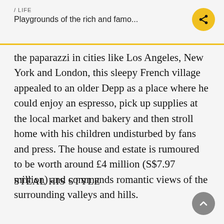/ LIFE
Playgrounds of the rich and famo...
the paparazzi in cities like Los Angeles, New York and London, this sleepy French village appealed to an older Depp as a place where he could enjoy an espresso, pick up supplies at the local market and bakery and then stroll home with his children undisturbed by fans and press. The house and estate is rumoured to be worth around £4 million (S$7.97 million) and commands romantic views of the surrounding valleys and hills.
STEAL HIS STYLE